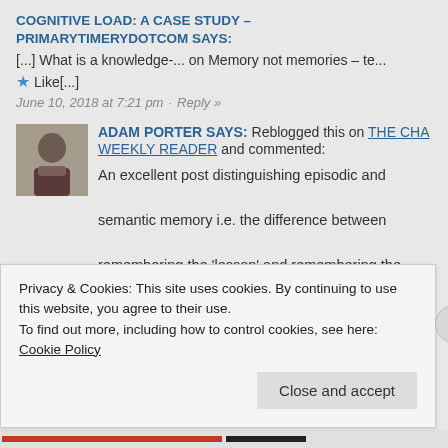COGNITIVE LOAD: A CASE STUDY – PRIMARYTIMERYDOTCOM SAYS:
[...] What is a knowledge-... on Memory not memories – te...
★ Like[...]
June 10, 2018 at 7:21 pm · Reply »
ADAM PORTER SAYS: Reblogged this on THE CHA WEEKLY READER and commented:
An excellent post distinguishing episodic and semantic memory i.e. the difference between remembering the 'lesson' and remembering the intended learning: and progressing to give
Privacy & Cookies: This site uses cookies. By continuing to use this website, you agree to their use.
To find out more, including how to control cookies, see here: Cookie Policy
Close and accept